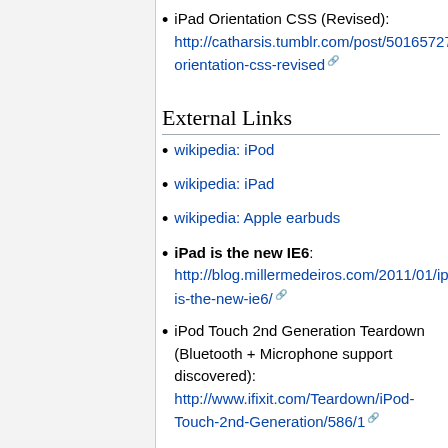iPad Orientation CSS (Revised): http://catharsis.tumblr.com/post/501657271/ipad-orientation-css-revised
External Links
wikipedia: iPod
wikipedia: iPad
wikipedia: Apple earbuds
iPad is the new IE6: http://blog.millermedeiros.com/2011/01/ipad-is-the-new-ie6/
iPod Touch 2nd Generation Teardown (Bluetooth + Microphone support discovered): http://www.ifixit.com/Teardown/iPod-Touch-2nd-Generation/586/1
iPod Touch Microphones: http://touchmic.com/products-